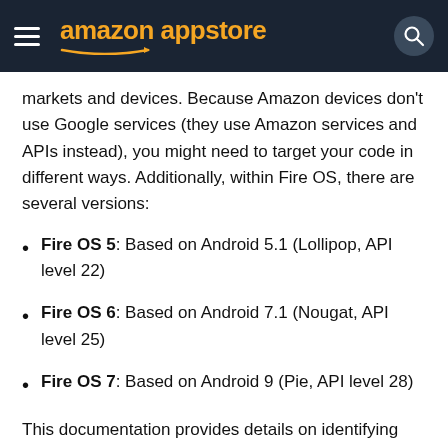amazon appstore
markets and devices. Because Amazon devices don't use Google services (they use Amazon services and APIs instead), you might need to target your code in different ways. Additionally, within Fire OS, there are several versions:
Fire OS 5: Based on Android 5.1 (Lollipop, API level 22)
Fire OS 6: Based on Android 7.1 (Nougat, API level 25)
Fire OS 7: Based on Android 9 (Pie, API level 28)
This documentation provides details on identifying Amazon devices based on features, models, and API levels. You can find details